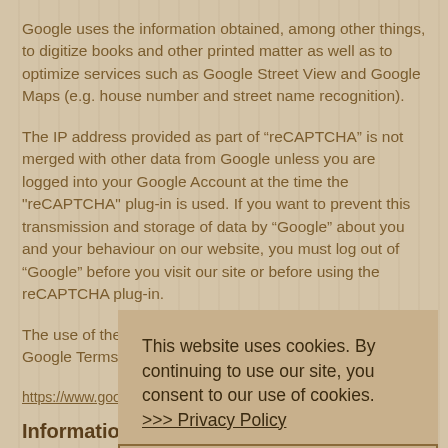Google uses the information obtained, among other things, to digitize books and other printed matter as well as to optimize services such as Google Street View and Google Maps (e.g. house number and street name recognition).
The IP address provided as part of “reCAPTCHA” is not merged with other data from Google unless you are logged into your Google Account at the time the "reCAPTCHA" plug-in is used. If you want to prevent this transmission and storage of data by “Google” about you and your behaviour on our website, you must log out of “Google” before you visit our site or before using the reCAPTCHA plug-in.
The use of the “reCAPTCHA” service is according to the Google Terms of Use.
https://www.google.com/intl/de/policies/privacy/
Information/Cancellation/Dele...
On the basis of the Federal Data Protection Act, you may contact us at no cost if you have questions relating to the collection,
This website uses cookies. By continuing to use our site, you consent to our use of cookies.  >>> Privacy Policy